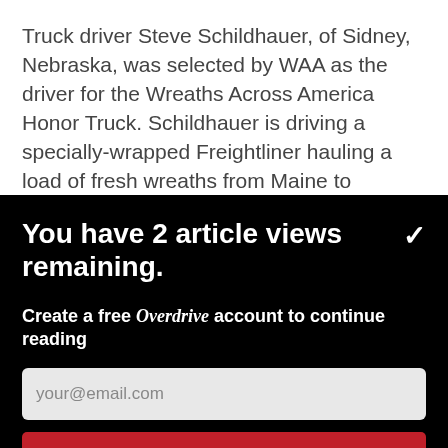Truck driver Steve Schildhauer, of Sidney, Nebraska, was selected by WAA as the driver for the Wreaths Across America Honor Truck. Schildhauer is driving a specially-wrapped Freightliner hauling a load of fresh wreaths from Maine to Arlington National
You have 2 article views remaining.
Create a free Overdrive account to continue reading
your@email.com
CONTINUE